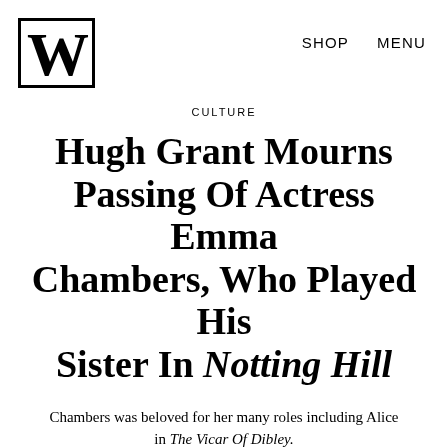W  SHOP  MENU
CULTURE
Hugh Grant Mourns Passing Of Actress Emma Chambers, Who Played His Sister In Notting Hill
Chambers was beloved for her many roles including Alice in The Vicar Of Dibley.
by Elizabeth Logan
02.25.18